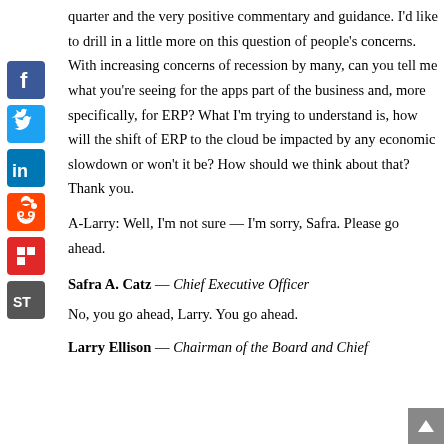quarter and the very positive commentary and guidance. I'd like to drill in a little more on this question of people's concerns. With increasing concerns of recession by many, can you tell me what you're seeing for the apps part of the business and, more specifically, for ERP? What I'm trying to understand is, how will the shift of ERP to the cloud be impacted by any economic slowdown or won't it be? How should we think about that? Thank you.
A-Larry: Well, I'm not sure — I'm sorry, Safra. Please go ahead.
Safra A. Catz — Chief Executive Officer
No, you go ahead, Larry. You go ahead.
Larry Ellison — Chairman of the Board and Chief